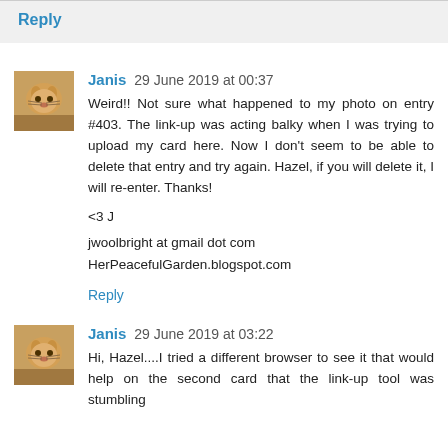Reply
Janis 29 June 2019 at 00:37
Weird!! Not sure what happened to my photo on entry #403. The link-up was acting balky when I was trying to upload my card here. Now I don't seem to be able to delete that entry and try again. Hazel, if you will delete it, I will re-enter. Thanks!
<3 J

jwoolbright at gmail dot com
HerPeacefulGarden.blogspot.com
Reply
Janis 29 June 2019 at 03:22
Hi, Hazel....I tried a different browser to see it that would help on the second card that the link-up tool was stumbling